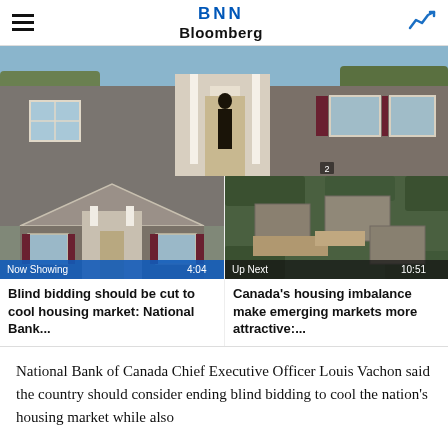BNN Bloomberg
[Figure (photo): A person standing in the doorway of a house, exterior view showing grey siding, white trim, and windows. Number 2 visible on door area.]
[Figure (screenshot): Video thumbnail: Street-level view of a residential house with grey siding and maroon shutters. Label: 'Now Showing', duration: 4:04]
Blind bidding should be cut to cool housing market: National Bank...
[Figure (screenshot): Video thumbnail: Aerial view of housing construction/development site. Label: 'Up Next', duration: 10:51]
Canada's housing imbalance make emerging markets more attractive:...
National Bank of Canada Chief Executive Officer Louis Vachon said the country should consider ending blind bidding to cool the nation's housing market while also